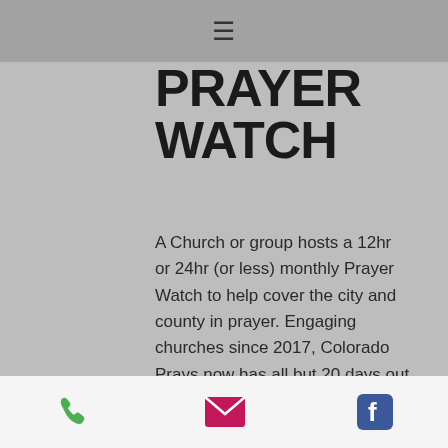≡
PRAYER WATCH
A Church or group hosts a 12hr or 24hr (or less) monthly Prayer Watch to help cover the city and county in prayer. Engaging churches since 2017, Colorado Prays now has all but 20 days out of the year covered in non-stop prayer at the state level. We are now engaging non-stop prayer in each county.
Phone | Email | Facebook